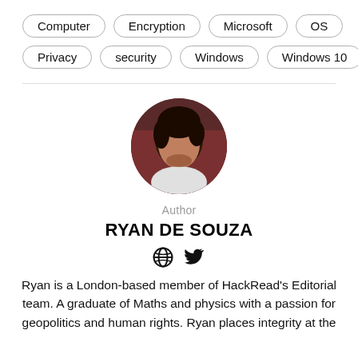Computer
Encryption
Microsoft
OS
Privacy
security
Windows
Windows 10
[Figure (photo): Circular profile photo of Ryan De Souza, a man with dark hair photographed indoors]
Author
RYAN DE SOUZA
[Figure (other): Globe icon and Twitter bird icon for author social links]
Ryan is a London-based member of HackRead's Editorial team. A graduate of Maths and physics with a passion for geopolitics and human rights. Ryan places integrity at the